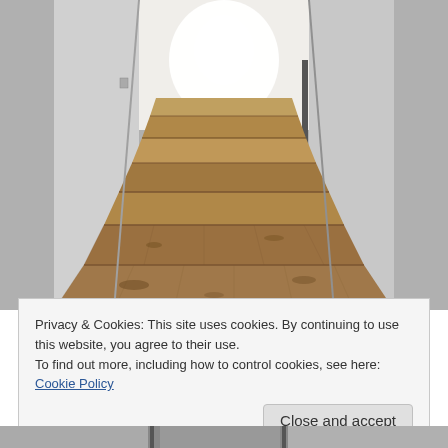[Figure (photo): Interior hallway/corridor with wooden plank flooring or steps in foreground, white walls on both sides, bright light at the far end, and a blue container visible in the background. The photo is taken from a low angle showing the wooden planks receding into the distance.]
Privacy & Cookies: This site uses cookies. By continuing to use this website, you agree to their use.
To find out more, including how to control cookies, see here: Cookie Policy
Close and accept
[Figure (photo): Partial view of another photo at the bottom of the page, showing what appears to be an interior space.]